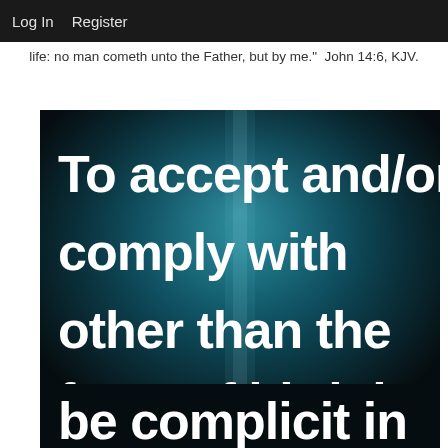Log In   Register
life: no man cometh unto the Father, but by me."  John 14:6, KJV.
[Figure (illustration): Dark teal/blue glowing background with large white text reading: 'To accept and/or comply with other than the facts of birth is to be complicit in']